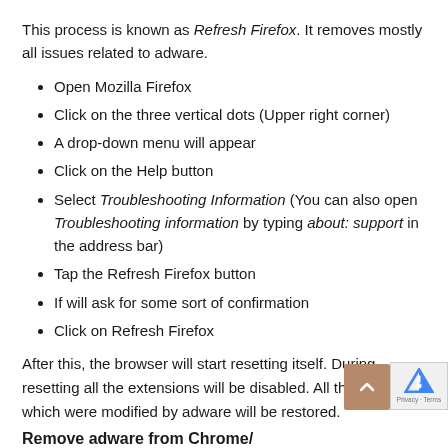This process is known as Refresh Firefox. It removes mostly all issues related to adware.
Open Mozilla Firefox
Click on the three vertical dots (Upper right corner)
A drop-down menu will appear
Click on the Help button
Select Troubleshooting Information (You can also open Troubleshooting information by typing about: support in the address bar)
Tap the Refresh Firefox button
If will ask for some sort of confirmation
Click on Refresh Firefox
After this, the browser will start resetting itself. During resetting all the extensions will be disabled. All the settings which were modified by adware will be restored.
Remove adware from Chrome/